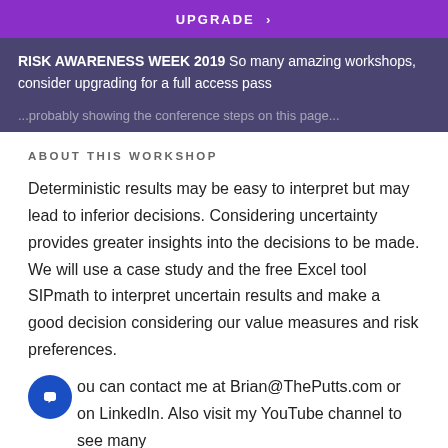UPGRADE >
RISK AWARENESS WEEK 2019 So many amazing workshops, consider upgrading for a full access pass
...probably showing the conference steps on this page...
ABOUT THIS WORKSHOP
Deterministic results may be easy to interpret but may lead to inferior decisions. Considering uncertainty provides greater insights into the decisions to be made. We will use a case study and the free Excel tool SIPmath to interpret uncertain results and make a good decision considering our value measures and risk preferences.
You can contact me at Brian@ThePutts.com or on LinkedIn. Also visit my YouTube channel to see many